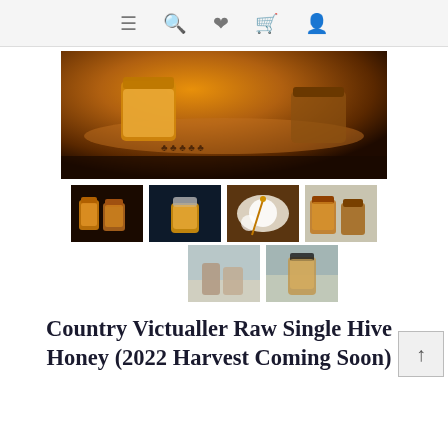Navigation icons: menu, search, wishlist, cart, account
[Figure (photo): Hero image of honey jars on a decorative gold tray with flower cutouts, warm amber lighting]
[Figure (photo): Thumbnail: Multiple honey jars in dark background]
[Figure (photo): Thumbnail: Single honey jar with silver lid on dark background]
[Figure (photo): Thumbnail: Honey dipper with honeycomb on white plate]
[Figure (photo): Thumbnail: Two honey jars near window]
[Figure (photo): Thumbnail: Two honey jars near window, lighter]
[Figure (photo): Thumbnail: Single honey jar near window]
Country Victualler Raw Single Hive Honey (2022 Harvest Coming Soon)